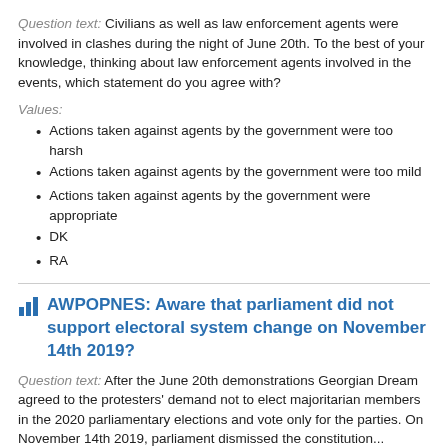Question text: Civilians as well as law enforcement agents were involved in clashes during the night of June 20th. To the best of your knowledge, thinking about law enforcement agents involved in the events, which statement do you agree with?
Values:
Actions taken against agents by the government were too harsh
Actions taken against agents by the government were too mild
Actions taken against agents by the government were appropriate
DK
RA
AWPOPNES: Aware that parliament did not support electoral system change on November 14th 2019?
Question text: After the June 20th demonstrations Georgian Dream agreed to the protesters' demand not to elect majoritarian members in the 2020 parliamentary elections and vote only for the parties. On November 14th 2019, parliament dismissed the constitution...